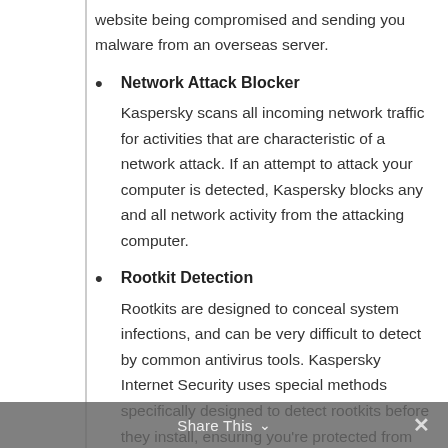website being compromised and sending you malware from an overseas server.
Network Attack Blocker
Kaspersky scans all incoming network traffic for activities that are characteristic of a network attack. If an attempt to attack your computer is detected, Kaspersky blocks any and all network activity from the attacking computer.
Rootkit Detection
Rootkits are designed to conceal system infections, and can be very difficult to detect by common antivirus tools. Kaspersky Internet Security uses special methods specifically designed to detect rootkits before they install, ensuring you're protected from this advanced threat.
Share This ∨  ✕